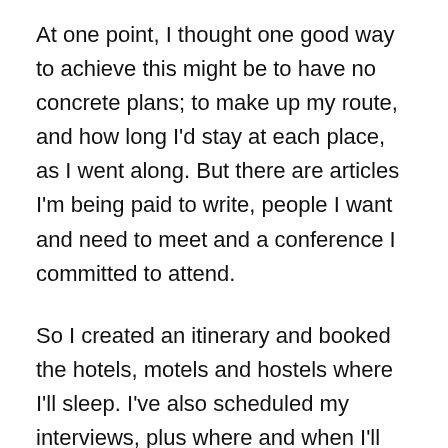At one point, I thought one good way to achieve this might be to have no concrete plans; to make up my route, and how long I'd stay at each place, as I went along. But there are articles I'm being paid to write, people I want and need to meet and a conference I committed to attend.
So I created an itinerary and booked the hotels, motels and hostels where I'll sleep. I've also scheduled my interviews, plus where and when I'll meet people. But otherwise, I've made no spreadsheets, no calendars. I've made no lists of must-see places, checked no restaurant ratings or business hours and have asked neither friends